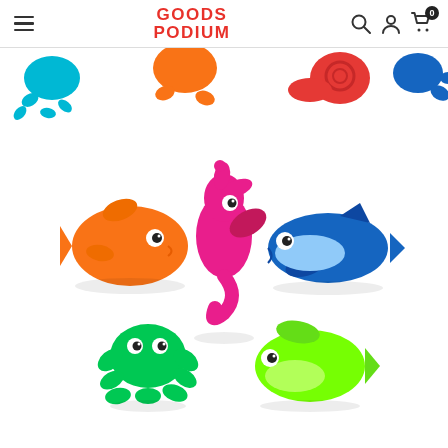GOODS PODIUM — navigation header with hamburger menu, logo, search, account, and cart icons
[Figure (photo): Colorful rubber bath toy sea animals: orange fish, magenta seahorse, blue dolphin/shark, green octopus/frog, lime green fish, plus orange starfish, blue octopus, red snail, blue crab visible at top edge — all on white background]